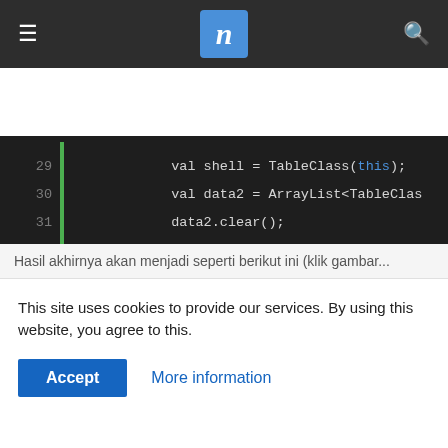n (navigation logo with hamburger menu and search icon)
[Figure (screenshot): Code editor screenshot showing Kotlin code lines 29-38 with green line indicator bar and syntax highlighting. Lines show: val shell = TableClass(this); val data2 = ArrayList<TableClas; data2.clear(); data2.add(shell.addHeader("No", ...; data2.add(shell.addData(1, "She...; data2.add(shell.addData(2, "She...; data2.add(shell.addData(3, "She...; data2.add(shell.addData(4, "She...; (blank line 38); TableAdapter(this, data).also{; } }]
Hasil akhirnya akan menjadi seperti berikut ini (klik gambar...
This site uses cookies to provide our services. By using this website, you agree to this.
Accept
More information